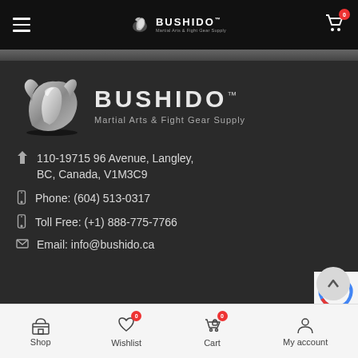BUSHIDO Martial Arts & Fight Gear Supply — navigation header
[Figure (logo): Bushido Martial Arts & Fight Gear Supply logo — large silver stylized dragon/warrior emblem with BUSHIDO text and TM mark, tagline: Martial Arts & Fight Gear Supply]
110-19715 96 Avenue, Langley, BC, Canada, V1M3C9
Phone: (604) 513-0317
Toll Free: (+1) 888-775-7766
Email: info@bushido.ca
Shop | Wishlist 0 | Cart 0 | My account